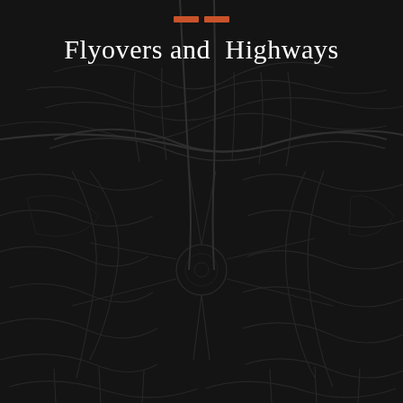[Figure (map): Dark architectural/road map background showing flyovers, highways, and urban road network in dark gray tones on near-black background]
Flyovers and  Highways